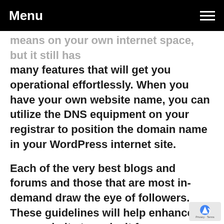Menu
means on your own internet space, but it still has many features that will get you operational effortlessly. When you have your own website name, you can utilize the DNS equipment on your registrar to position the domain name in your WordPress internet site.
Each of the very best blogs and forums and those that are most in-demand draw the eye of followers. These guidelines will help enhance your website to make it far more fascinating. Virtually all blog writers only sustain their blogs because they appreciate it, but a couple of can easily come up with a decent earnings from them. Regardless of what Find Out More for your website, have fun with this!